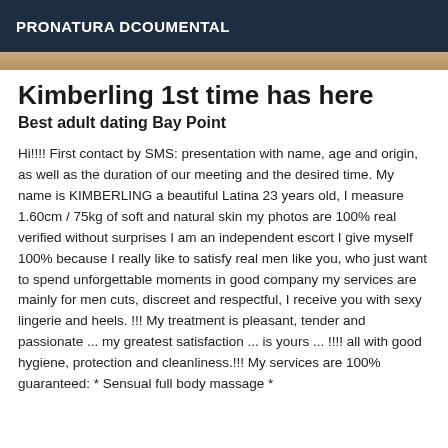PRONATURA DCOUMENTAL
[Figure (photo): Partial view of a person photo strip at top of content]
Kimberling 1st time has here
Best adult dating Bay Point
Hi!!!! First contact by SMS: presentation with name, age and origin, as well as the duration of our meeting and the desired time. My name is KIMBERLING a beautiful Latina 23 years old, I measure 1.60cm / 75kg of soft and natural skin my photos are 100% real verified without surprises I am an independent escort I give myself 100% because I really like to satisfy real men like you, who just want to spend unforgettable moments in good company my services are mainly for men cuts, discreet and respectful, I receive you with sexy lingerie and heels. !!! My treatment is pleasant, tender and passionate ... my greatest satisfaction ... is yours ... !!!! all with good hygiene, protection and cleanliness.!!! My services are 100% guaranteed: * Sensual full body massage *